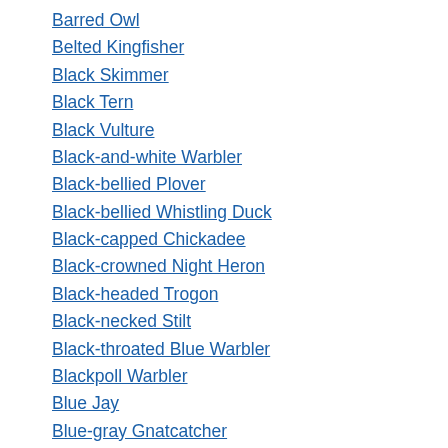Barred Owl
Belted Kingfisher
Black Skimmer
Black Tern
Black Vulture
Black-and-white Warbler
Black-bellied Plover
Black-bellied Whistling Duck
Black-capped Chickadee
Black-crowned Night Heron
Black-headed Trogon
Black-necked Stilt
Black-throated Blue Warbler
Blackpoll Warbler
Blue Jay
Blue-gray Gnatcatcher
Blue-gray Tanager
Blue-headed Vireo
Blue-winged Teal